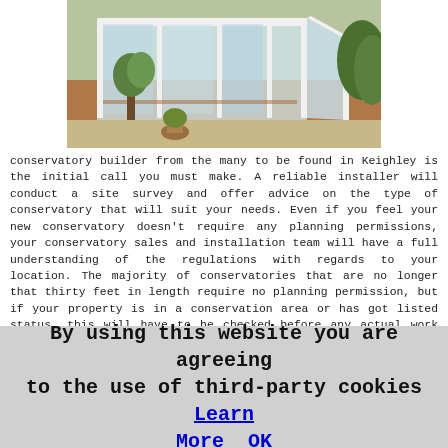[Figure (photo): Photograph of a conservatory attached to a brick house, showing white uPVC framing and glass panels with garden in background]
conservatory builder from the many to be found in Keighley is the initial call you must make. A reliable installer will conduct a site survey and offer advice on the type of conservatory that will suit your needs. Even if you feel your new conservatory doesn't require any planning permissions, your conservatory sales and installation team will have a full understanding of the regulations with regards to your location. The majority of conservatories that are no longer that thirty feet in length require no planning permission, but if your property is in a conservation area or has got listed status, this will have to be checked before any actual work can begin.
The form of your chosen conservatory is down to your own personal taste, but there are six chief models to look at:
Victorian - The classic conservatory option with a
By using this website you are agreeing to the use of third-party cookies Learn More  OK